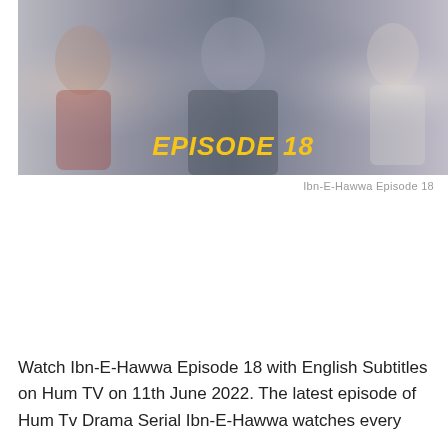[Figure (photo): TV drama promotional image showing cast members with 'EPISODE 18' text overlay in yellow italic font]
Ibn-E-Hawwa Episode 18
Watch Ibn-E-Hawwa Episode 18 with English Subtitles on Hum TV on 11th June 2022. The latest episode of Hum Tv Drama Serial Ibn-E-Hawwa watches every